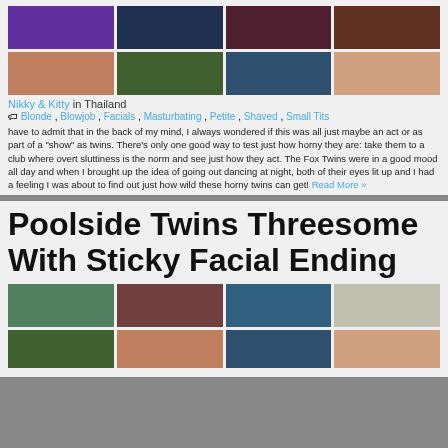[Figure (photo): Grid of 8 thumbnail images from a video/photo set, two rows of 4]
Nikky & Kitty in Thailand
Blonde, Blowjob, Facials, Masturbating, Petite, Shaved, Small Tits
have to admit that in the back of my mind, I always wondered if this was all just maybe an act or as part of a "show" as twins. There's only one good way to test just how horny they are: take them to a club where overt sluttiness is the norm and see just how they act. The Fox Twins were in a good mood all day and when I brought up the idea of going out dancing at night, both of their eyes lit up and I had a feeling I was about to find out just how wild these horny twins can get! Read More »
Poolside Twins Threesome With Sticky Facial Ending
[Figure (photo): Grid of 8 thumbnail images from a poolside video/photo set, two rows of 4]